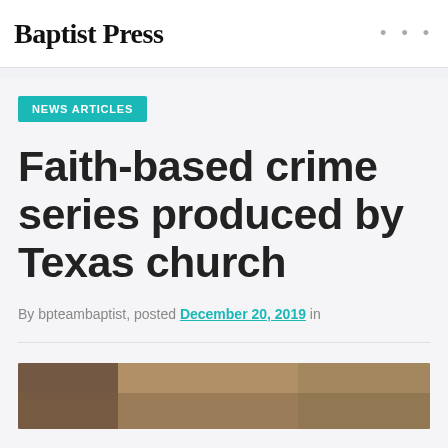Baptist Press
NEWS ARTICLES
Faith-based crime series produced by Texas church
By bpteambaptist, posted December 20, 2019 in
[Figure (photo): Partial image of what appears to be an indoor scene, cropped at the bottom of the page]